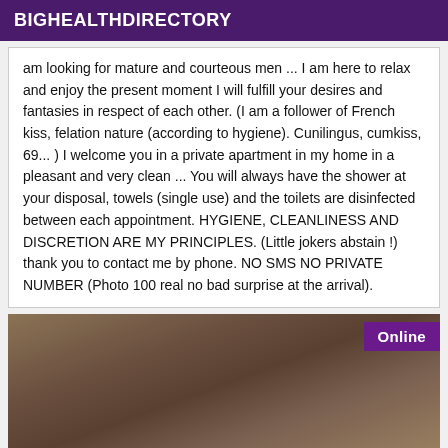BIGHEALTHDIRECTORY
am looking for mature and courteous men ... I am here to relax and enjoy the present moment I will fulfill your desires and fantasies in respect of each other. (I am a follower of French kiss, felation nature (according to hygiene). Cunilingus, cumkiss, 69... ) I welcome you in a private apartment in my home in a pleasant and very clean ... You will always have the shower at your disposal, towels (single use) and the toilets are disinfected between each appointment. HYGIENE, CLEANLINESS AND DISCRETION ARE MY PRINCIPLES. (Little jokers abstain !) thank you to contact me by phone. NO SMS NO PRIVATE NUMBER (Photo 100 real no bad surprise at the arrival).
[Figure (photo): Partial photo of a person with curly brown hair, with an 'Online' badge overlay in purple.]